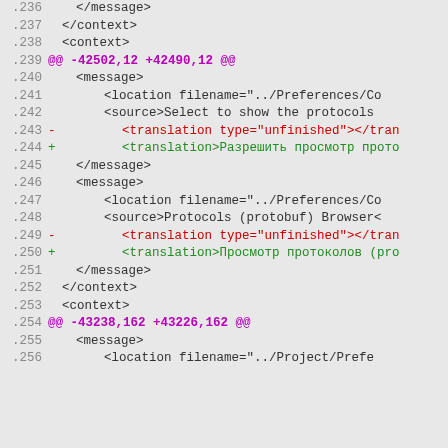Code diff showing XML translation file changes, lines 236-256
.236     </message>
.237   </context>
.238   <context>
.239 @@ -42502,12 +42490,12 @@
.240       <message>
.241           <location filename="../Preferences/Co
.242           <source>Select to show the protocols
.243 -         <translation type="unfinished"></tran
.244 +         <translation>Разрешить просмотр прото
.245       </message>
.246       <message>
.247           <location filename="../Preferences/Co
.248           <source>Protocols (protobuf) Browser<
.249 -         <translation type="unfinished"></tran
.250 +         <translation>Просмотр протоколов (pro
.251       </message>
.252   </context>
.253   <context>
.254 @@ -43238,162 +43226,162 @@
.255       <message>
.256           <location filename="../Project/Prefe